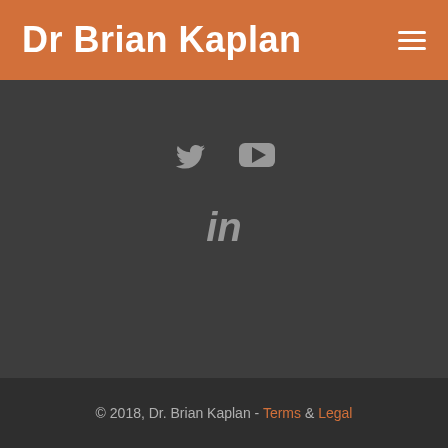Dr Brian Kaplan
[Figure (other): Social media icons: Twitter bird icon, YouTube play button icon, and LinkedIn 'in' icon displayed on a dark background]
© 2018, Dr. Brian Kaplan - Terms & Legal